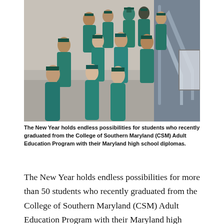[Figure (photo): Group photo of approximately 14 graduates wearing teal/green graduation gowns and caps, posed on stairs inside a building. They are smiling and celebrating their graduation from the College of Southern Maryland Adult Education Program.]
The New Year holds endless possibilities for students who recently graduated from the College of Southern Maryland (CSM) Adult Education Program with their Maryland high school diplomas.
The New Year holds endless possibilities for more than 50 students who recently graduated from the College of Southern Maryland (CSM) Adult Education Program with their Maryland high school diplomas. The Southern Maryland residents who span in age and life experiences all achieved the same academic milestone during the fall semester – with some